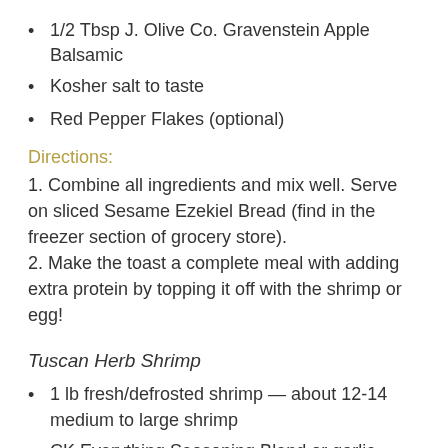1/2 Tbsp J. Olive Co. Gravenstein Apple Balsamic
Kosher salt to taste
Red Pepper Flakes (optional)
Directions:
1. Combine all ingredients and mix well. Serve on sliced Sesame Ezekiel Bread (find in the freezer section of grocery store). 2. Make the toast a complete meal with adding extra protein by topping it off with the shrimp or egg!
Tuscan Herb Shrimp
1 lb fresh/defrosted shrimp — about 12-14 medium to large shrimp
CK Everything Seasoning Blend or garlic